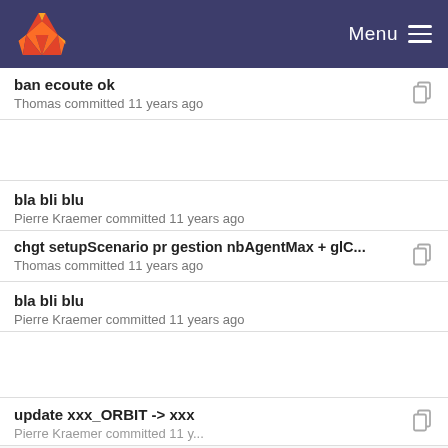GitLab — Menu
ban ecoute ok
Thomas committed 11 years ago
bla bli blu
Pierre Kraemer committed 11 years ago
chgt setupScenario pr gestion nbAgentMax + glC...
Thomas committed 11 years ago
bla bli blu
Pierre Kraemer committed 11 years ago
update xxx_ORBIT -> xxx
Pierre Kraemer committed 11 years ago